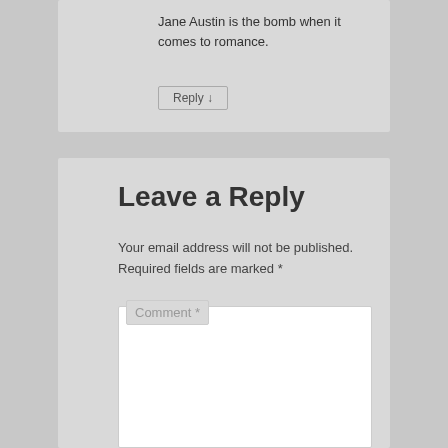Jane Austin is the bomb when it comes to romance.
Reply ↓
Leave a Reply
Your email address will not be published. Required fields are marked *
Comment *